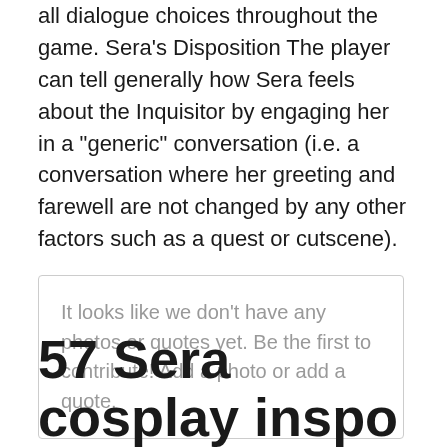all dialogue choices throughout the game. Sera's Disposition The player can tell generally how Sera feels about the Inquisitor by engaging her in a "generic" conversation (i.e. a conversation where her greeting and farewell are not changed by any other factors such as a quest or cutscene).
It looks like we don't have any photos or quotes yet. Be the first to contribute! Add a photo or add a quote.
57 Sera cosplay inspo idéer dragon age inquisition, kaftan